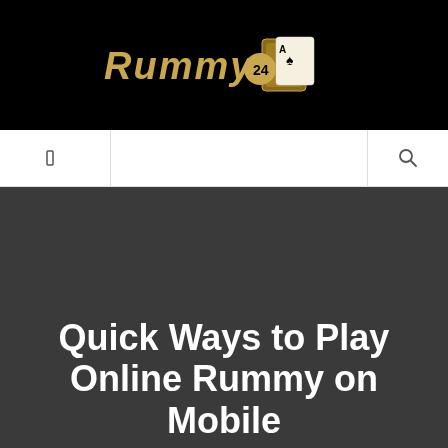[Figure (logo): Rummy24 logo with golden text and playing card graphic on black background]
Navigation bar with hamburger menu icon on left and search icon on right
[Figure (photo): Dark grey hero image background]
Quick Ways to Play Online Rummy on Mobile